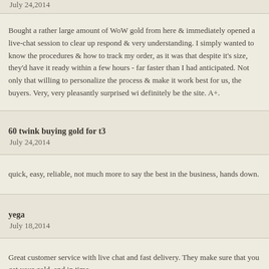July 24,2014
Bought a rather large amount of WoW gold from here & immediately opened a live-chat session to clear up respond & very understanding. I simply wanted to know the procedures & how to track my order, as it was that despite it's size, they'd have it ready within a few hours - far faster than I had anticipated. Not only that willing to personalize the process & make it work best for us, the buyers. Very, very pleasantly surprised wi definitely be the site. A+.
60 twink buying gold for t3
July 24,2014
quick, easy, reliable, not much more to say the best in the business, hands down.
yega
July 18,2014
Great customer service with live chat and fast delivery. They make sure that you get your gold, and in time.